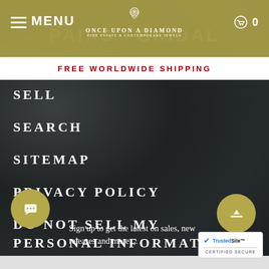MENU | ONCE UPON A DIAMOND | 0
FREE WORLDWIDE SHIPPING
SELL
SEARCH
SITEMAP
PRIVACY POLICY
DO NOT SELL MY PERSONAL INFORMATION
Sign up to get the latest on sales, new releases and more ...